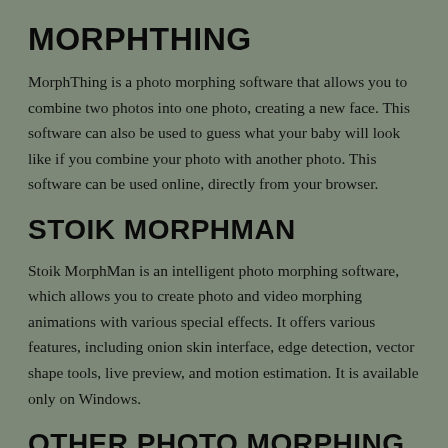MORPHTHING
MorphThing is a photo morphing software that allows you to combine two photos into one photo, creating a new face. This software can also be used to guess what your baby will look like if you combine your photo with another photo. This software can be used online, directly from your browser.
STOIK MORPHMAN
Stoik MorphMan is an intelligent photo morphing software, which allows you to create photo and video morphing animations with various special effects. It offers various features, including onion skin interface, edge detection, vector shape tools, live preview, and motion estimation. It is available only on Windows.
OTHER PHOTO MORPHING